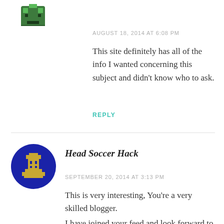[Figure (illustration): Pixel art avatar icon — green and dark green square pixel character on white background, partially visible at top]
AUGUST 18, 2014 AT 6:08 PM
This site definitely has all of the info I wanted concerning this subject and didn't know who to ask.
REPLY
[Figure (illustration): Circular avatar with dark blue background and gold/yellow pixel game character icon]
Head Soccer Hack
SEPTEMBER 20, 2014 AT 3:13 PM
This is very interesting, You're a very skilled blogger.
I have joined your feed and look forward to